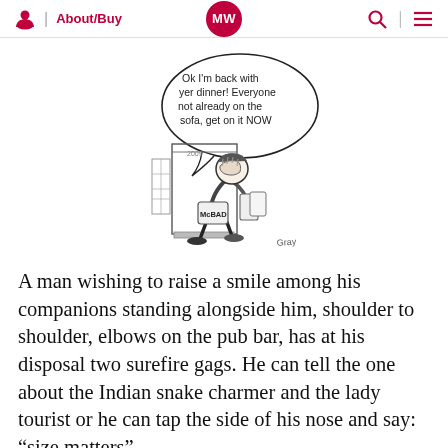About/Buy | MW
[Figure (illustration): Single-panel cartoon showing a stooped figure wearing a 'McBAD' bag, holding bags of takeaway food, speaking a speech bubble that reads: 'Ok I'm back with yer dinner! Everyone not already on the sofa, get on it NOW'. A door and building are in the background. Artist signature visible bottom right.]
A man wishing to raise a smile among his companions standing alongside him, shoulder to shoulder, elbows on the pub bar, has at his disposal two surefire gags. He can tell the one about the Indian snake charmer and the lady tourist or he can tap the side of his nose and say: “size matters”.